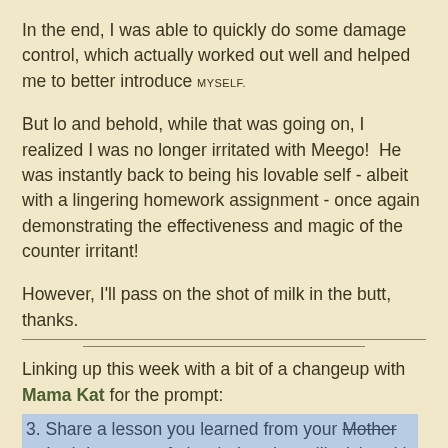In the end, I was able to quickly do some damage control, which actually worked out well and helped me to better introduce MYSELF.
But lo and behold, while that was going on, I realized I was no longer irritated with Meego!  He was instantly back to being his lovable self - albeit with a lingering homework assignment - once again demonstrating the effectiveness and magic of the counter irritant!
However, I'll pass on the shot of milk in the butt, thanks.
Linking up this week with a bit of a changeup with Mama Kat for the prompt:
3. Share a lesson you learned from your Mother retired doctor stepfather-in-law that still sticks with you to this day